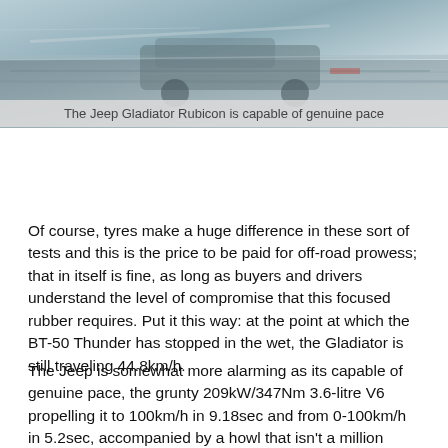[Figure (photo): Blurred action photo of a Jeep Gladiator Rubicon in motion, showing vehicle and wet road surface.]
The Jeep Gladiator Rubicon is capable of genuine pace
Of course, tyres make a huge difference in these sort of tests and this is the price to be paid for off-road prowess; that in itself is fine, as long as buyers and drivers understand the level of compromise that this focused rubber requires. Put it this way: at the point at which the BT-50 Thunder has stopped in the wet, the Gladiator is still traveling 44.8km/h.
The Jeep is somewhat more alarming as its capable of genuine pace, the grunty 209kW/347Nm 3.6-litre V6 propelling it to 100km/h in 9.18sec and from 0-100km/h in 5.2sec, accompanied by a howl that isn't a million miles away from a Nissan 370Z. Its heavy off-road focus costs it